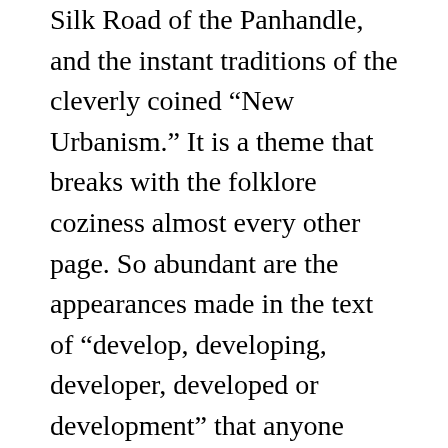Silk Road of the Panhandle, and the instant traditions of the cleverly coined “New Urbanism.” It is a theme that breaks with the folklore coziness almost every other page. So abundant are the appearances made in the text of “develop, developing, developer, developed or development” that anyone paying attention wonders if Pathway to Paradise is a Come to the Land of Flowers real estate brochure, a hardbound Fodor’s Guide to the Panhandle, or a section out of the county plat book.
In the book’s final chapter, “The Future of